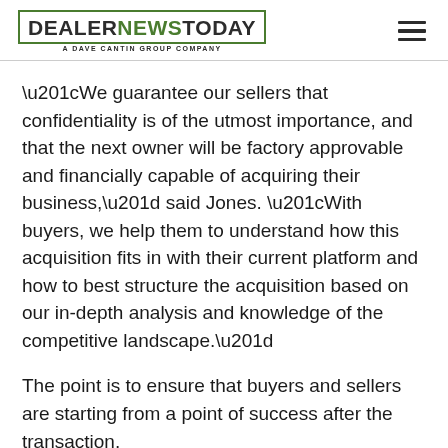DEALER NEWS TODAY — A DAVE CANTIN GROUP COMPANY
“We guarantee our sellers that confidentiality is of the utmost importance, and that the next owner will be factory approvable and financially capable of acquiring their business,” said Jones. “With buyers, we help them to understand how this acquisition fits in with their current platform and how to best structure the acquisition based on our in-depth analysis and knowledge of the competitive landscape.”
The point is to ensure that buyers and sellers are starting from a point of success after the transaction.
“At DCG, we pride ourselves on creating successful synergies between buyers and sellers, ensuring the